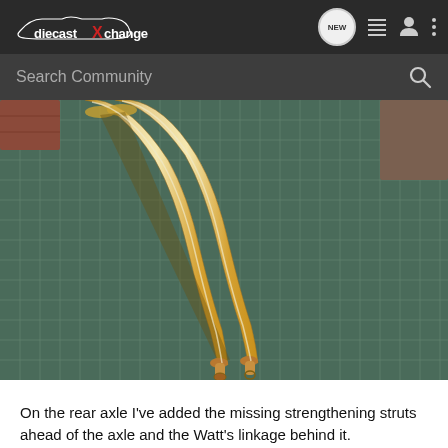diecastXchange | NEW | menu | user | more
[Figure (screenshot): Search Community bar with magnifying glass icon on dark background]
[Figure (photo): Close-up photo of two brass/copper cylindrical struts (strengthening struts) lying on a green cutting mat, with a red brick visible in the background. The struts are rounded and tubular with small protruding ends at the bottom.]
On the rear axle I've added the missing strengthening struts ahead of the axle and the Watt's linkage behind it.